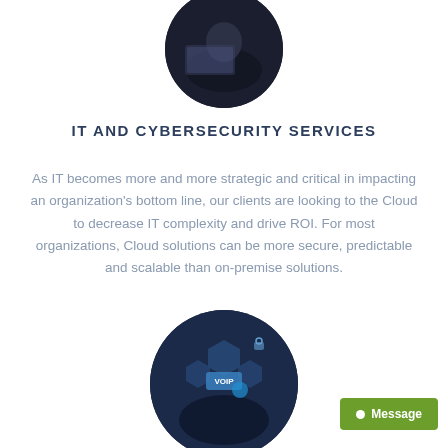[Figure (photo): Circular cropped photo of a person at a computer in a dark office setting, at the top of the page (partially cropped)]
IT AND CYBERSECURITY SERVICES
As IT becomes more and more strategic and critical in impacting an organization's bottom line, our clients are looking to the Cloud to decrease IT complexity and drive ROI. For most organizations, Cloud solutions can be more secure, predictable and scalable than on-premise solutions.
[Figure (photo): Circular cropped photo showing a person interacting with digital icons including VOIP, security, and communication symbols on a dark background]
Message